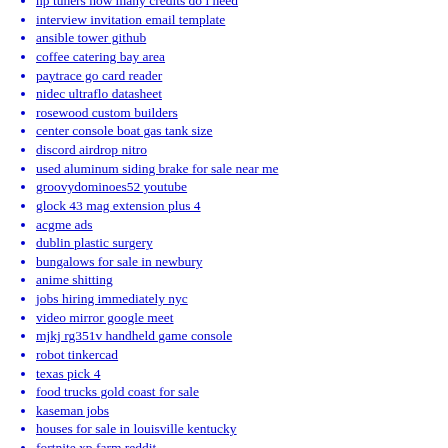hp tuners how many credits do i need
interview invitation email template
ansible tower github
coffee catering bay area
paytrace go card reader
nidec ultraflo datasheet
rosewood custom builders
center console boat gas tank size
discord airdrop nitro
used aluminum siding brake for sale near me
groovydominoes52 youtube
glock 43 mag extension plus 4
acgme ads
dublin plastic surgery
bungalows for sale in newbury
anime shitting
jobs hiring immediately nyc
video mirror google meet
mjkj rg351v handheld game console
robot tinkercad
texas pick 4
food trucks gold coast for sale
kaseman jobs
houses for sale in louisville kentucky
fortnite xp farm reddit